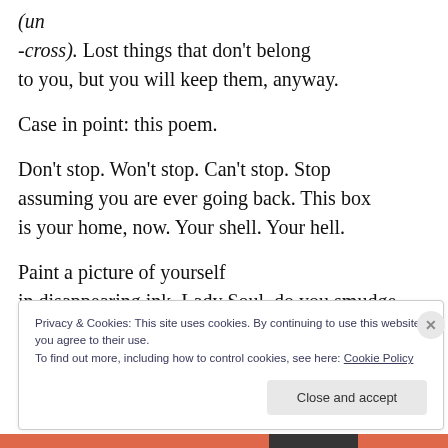(un -cross). Lost things that don't belong to you, but you will keep them, anyway.

Case in point: this poem.

Don't stop. Won't stop. Can't stop. Stop assuming you are ever going back. This box is your home, now. Your shell. Your hell.

Paint a picture of yourself in disappearing ink. Lady Soul, do you smudge
Privacy & Cookies: This site uses cookies. By continuing to use this website, you agree to their use.
To find out more, including how to control cookies, see here: Cookie Policy

Close and accept